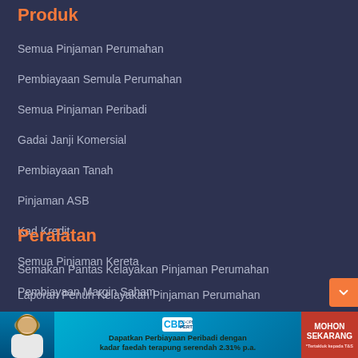Produk
Semua Pinjaman Perumahan
Pembiayaan Semula Perumahan
Semua Pinjaman Peribadi
Gadai Janji Komersial
Pembiayaan Tanah
Pinjaman ASB
Kad Kredit
Semua Pinjaman Kereta
Pembiayaan Margin Saham
Peralatan
Semakan Pantas Kelayakan Pinjaman Perumahan
Laporan Penuh Kelayakan Pinjaman Perumahan
[Figure (infographic): Co-opbank Pertama advertisement banner: person in hijab, CBD Co-opbank Pertama logo, text 'Dapatkan Perbiayaan Peribadi dengan kadar faedah terapung serendah 2.31% p.a.', red MOHON SEKARANG button with *Tertakluk kepada T&S note]